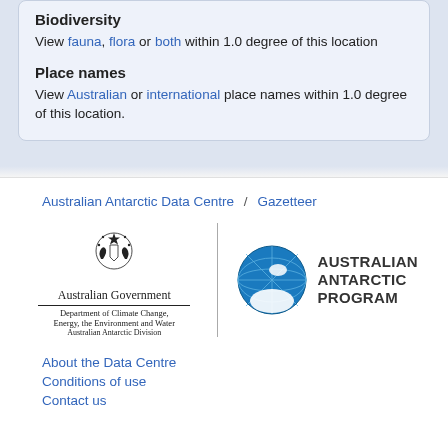Biodiversity
View fauna, flora or both within 1.0 degree of this location
Place names
View Australian or international place names within 1.0 degree of this location.
Australian Antarctic Data Centre / Gazetteer
[Figure (logo): Australian Government logo with coat of arms, text: Australian Government, Department of Climate Change, Energy, the Environment and Water, Australian Antarctic Division]
[Figure (logo): Australian Antarctic Program logo: blue globe with Antarctica visible, text AUSTRALIAN ANTARCTIC PROGRAM]
About the Data Centre
Conditions of use
Contact us